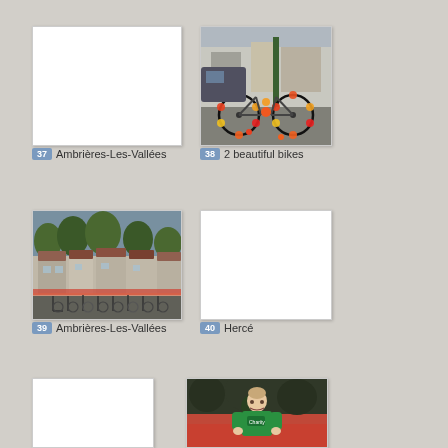[Figure (photo): Blank white photo placeholder for image 37]
37 Ambrières-Les-Vallées
[Figure (photo): Photo of 2 decorated bikes with floral wheel decorations on a town square]
38 2 beautiful bikes
[Figure (photo): Photo of Ambrières-Les-Vallées town scene with bicycles parked along a street with houses and trees]
39 Ambrières-Les-Vallées
[Figure (photo): Blank white photo placeholder for image 40 - Hercé]
40 Hercé
[Figure (photo): Blank white photo placeholder for image 41]
[Figure (photo): Photo of a man in a green t-shirt standing outdoors]